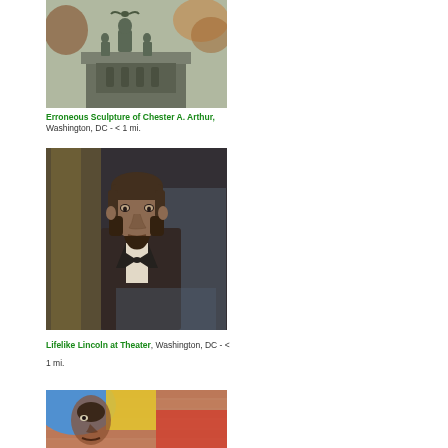[Figure (photo): Photo of a bronze sculpture on a stone pedestal with figures, trees in background with fall foliage]
Erroneous Sculpture of Chester A. Arthur, Washington, DC - < 1 mi.
[Figure (photo): Photo of a lifelike wax or mannequin figure of Abraham Lincoln in a suit and bow tie, with reflections in glass]
Lifelike Lincoln at Theater, Washington, DC - < 1 mi.
[Figure (photo): Photo of a colorful mural painted on a brick wall showing a face with blue and yellow elements]